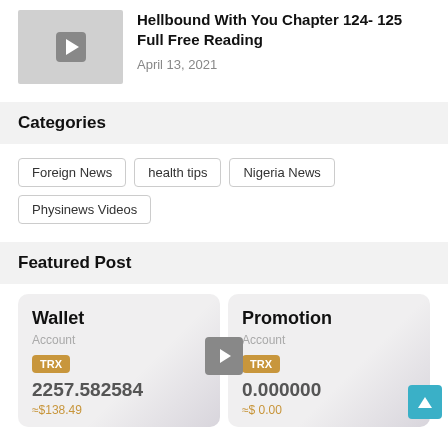[Figure (screenshot): Thumbnail with play button for article]
Hellbound With You Chapter 124- 125 Full Free Reading
April 13, 2021
Categories
Foreign News
health tips
Nigeria News
Physinews Videos
Featured Post
[Figure (screenshot): Wallet card showing TRX balance 2257.582584 ≈$138.49 and Promotion card showing TRX balance 0.000000 ≈$ 0.00, with play button overlay and scroll-to-top button]